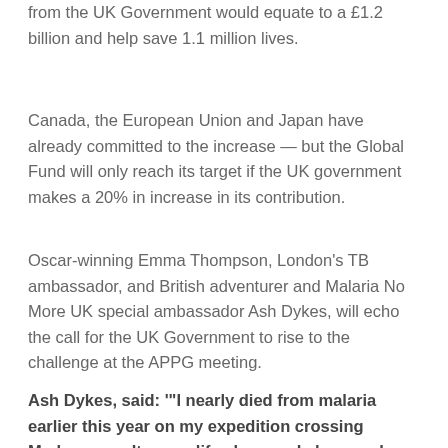from the UK Government would equate to a £1.2 billion and help save 1.1 million lives.
Canada, the European Union and Japan have already committed to the increase — but the Global Fund will only reach its target if the UK government makes a 20% in increase in its contribution.
Oscar-winning Emma Thompson, London's TB ambassador, and British adventurer and Malaria No More UK special ambassador Ash Dykes, will echo the call for the UK Government to rise to the challenge at the APPG meeting.
Ash Dykes, said: '"I nearly died from malaria earlier this year on my expedition crossing Madagascar. It was a life changer. I also saw how this disease rips